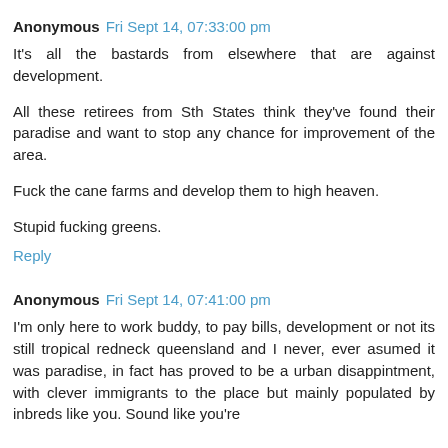Anonymous Fri Sept 14, 07:33:00 pm
It's all the bastards from elsewhere that are against development.

All these retirees from Sth States think they've found their paradise and want to stop any chance for improvement of the area.

Fuck the cane farms and develop them to high heaven.

Stupid fucking greens.
Reply
Anonymous Fri Sept 14, 07:41:00 pm
I'm only here to work buddy, to pay bills, development or not its still tropical redneck queensland and I never, ever asumed it was paradise, in fact has proved to be a urban disappintment, with clever immigrants to the place but mainly populated by inbreds like you. Sound like you're